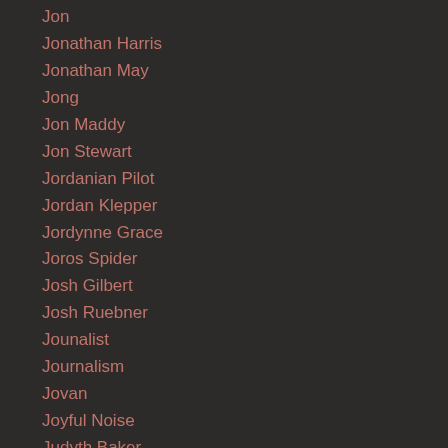Jon
Jonathan Harris
Jonathan May
Jong
Jon Maddy
Jon Stewart
Jordanian Pilot
Jordan Klepper
Jordynne Grace
Joros Spider
Josh Gilbert
Josh Ruebner
Jounalist
Journalism
Jovan
Joyful Noise
Judyth Baker
Juggalos
Julia Gordon-bramer
Julian Barnes
Jumpsuits